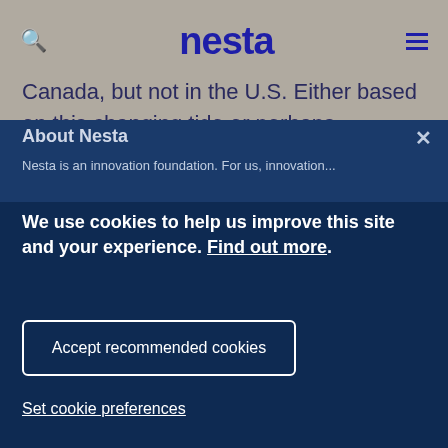nesta
Canada, but not in the U.S. Either based on this changing tide or perhaps signalling a deeper shift in consumer attitudes to food, our fo...wd were relatively certain (with 300%...auhoood our found stati...or ach...December)
About Nesta
Nesta is an innovation foundation. For us, innovation...
We use cookies to help us improve this site and your experience. Find out more.
Accept recommended cookies
Set cookie preferences